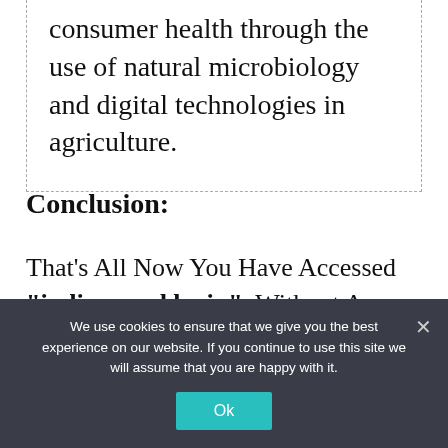consumer health through the use of natural microbiology and digital technologies in agriculture.
Conclusion:
That's All Now You Have Accessed "indigo card login". Without Any Issues. But If You Are Still Facing Anything Then Do Let Us Know. Do Share indigo card login Guide If
We use cookies to ensure that we give you the best experience on our website. If you continue to use this site we will assume that you are happy with it.